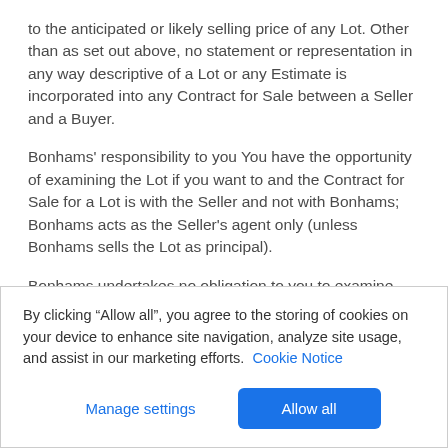to the anticipated or likely selling price of any Lot. Other than as set out above, no statement or representation in any way descriptive of a Lot or any Estimate is incorporated into any Contract for Sale between a Seller and a Buyer.
Bonhams' responsibility to you You have the opportunity of examining the Lot if you want to and the Contract for Sale for a Lot is with the Seller and not with Bonhams; Bonhams acts as the Seller's agent only (unless Bonhams sells the Lot as principal).
Bonhams undertakes no obligation to you to examine, investigate or carry out any tests, either in sufficient depth or at all, on each Lot to establish the accuracy or otherwise of any
By clicking “Allow all”, you agree to the storing of cookies on your device to enhance site navigation, analyze site usage, and assist in our marketing efforts.  Cookie Notice
Manage settings | Allow all